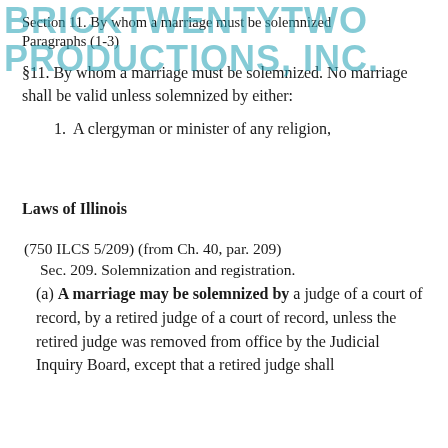Section 11. By whom a marriage must be solemnized Paragraphs (1-3)
§11. By whom a marriage must be solemnized. No marriage shall be valid unless solemnized by either:
A clergyman or minister of any religion,
Laws of Illinois
(750 ILCS 5/209) (from Ch. 40, par. 209)
Sec. 209. Solemnization and registration.
(a) A marriage may be solemnized by a judge of a court of record, by a retired judge of a court of record, unless the retired judge was removed from office by the Judicial Inquiry Board, except that a retired judge shall